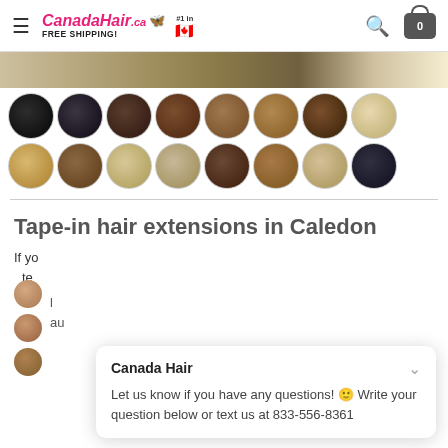CanadaHair.ca FREE SHIPPING! #1 in Canada
[Figure (photo): Hair product color swatch circles showing 16 different hair shades arranged in 2 rows]
Tape-in hair extensions in Caledon
If yo... te... l... au...
Canada Hair
Let us know if you have any questions! 😊 Write your question below or text us at 833-556-8361